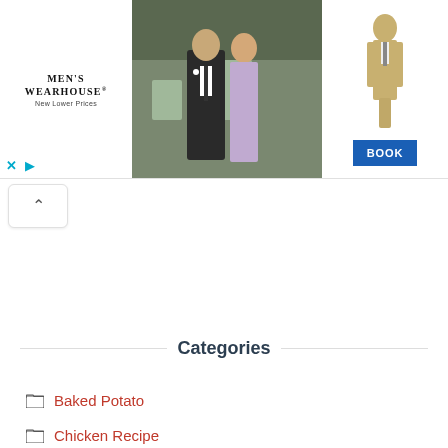[Figure (photo): Men's Wearhouse advertisement banner showing a wedding couple (man in dark suit, woman in formal dress) in center, a man in tan suit on the right, Men's Wearhouse logo and 'New Lower Prices' text on the left, and a blue 'BOOK' button on the far right.]
[Figure (other): Collapse/expand toggle button showing an upward chevron (^) in a rounded white box.]
Categories
Baked Potato
Chicken Recipe
Potato Pi...